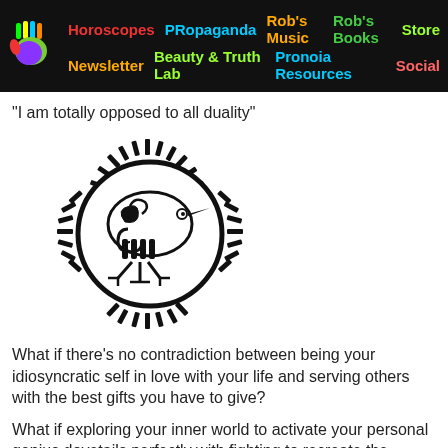Horoscopes  PRopaganda  Rob's Music  Rob's Books  Store  Newsletter  Beauty & Truth Lab  Pronoia Resources  Social
"I am totally opposed to all duality"
[Figure (illustration): Black and white tribal/Aztec-style sun bird symbol — a circular sun disc with rays made of small rectangular spikes, and inside a stylized bird figure with geometric patterns]
What if there's no contradiction between being your idiosyncratic self in love with your life and serving others with the best gifts you have to give?
What if exploring your inner world to activate your personal genius dovetails perfectly with fighting to recreate the